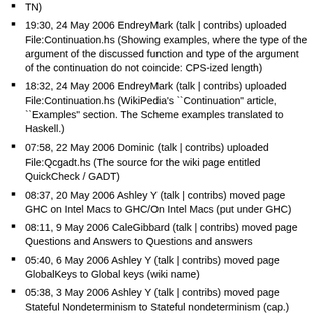TN)
19:30, 24 May 2006 EndreyMark (talk | contribs) uploaded File:Continuation.hs (Showing examples, where the type of the argument of the discussed function and type of the argument of the continuation do not coincide: CPS-ized length)
18:32, 24 May 2006 EndreyMark (talk | contribs) uploaded File:Continuation.hs (WikiPedia's ``Continuation" article, ``Examples" section. The Scheme examples translated to Haskell.)
07:58, 22 May 2006 Dominic (talk | contribs) uploaded File:Qcgadt.hs (The source for the wiki page entitled QuickCheck / GADT)
08:37, 20 May 2006 Ashley Y (talk | contribs) moved page GHC on Intel Macs to GHC/On Intel Macs (put under GHC)
08:11, 9 May 2006 CaleGibbard (talk | contribs) moved page Questions and Answers to Questions and answers
05:40, 6 May 2006 Ashley Y (talk | contribs) moved page GlobalKeys to Global keys (wiki name)
05:38, 3 May 2006 Ashley Y (talk | contribs) moved page Stateful Nondeterminism to Stateful nondeterminism (cap.)
18:32, 2 May 2006 EndreyMark (talk | contribs) moved page Smart constructor to Smart constructors over redirect (revert my previous (singularizing) move on this page.It seems to be a collective noun, with many specific ideas, it may be more an item list than a topical list. Sorry for my mistake.)